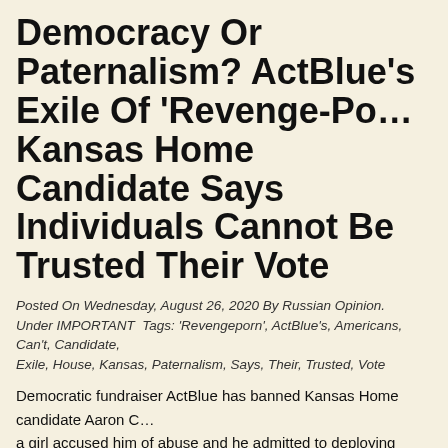Democracy Or Paternalism? ActBlue’s Exile Of ‘Revenge-Po… Kansas Home Candidate Says Individuals Cannot Be Trusted Their Vote
Posted On Wednesday, August 26, 2020 By Russian Opinion. Under IMPORTANT Tags: ‘Revengeporn’, ActBlue’s, Americans, Can’t, Candidate, Exile, House, Kansas, Paternalism, Says, Their, Trusted, Vote
Democratic fundraiser ActBlue has banned Kansas Home candidate Aaron C… a girl accused him of abuse and he admitted to deploying ‘revenge porn’ as a… However voters in a democracy have elected worse. ...
Professional-Lifers Demand Ka… Shut Down Abortion Middle Fo… Violating State Quarantines